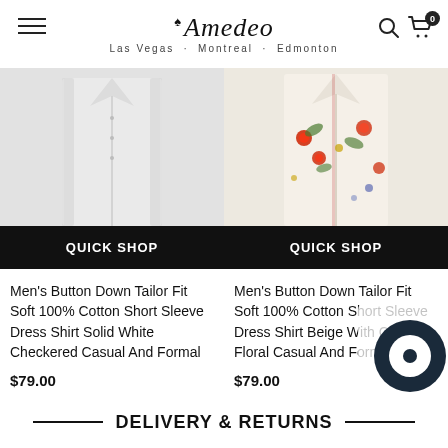Amedeo — Las Vegas · Montreal · Edmonton
[Figure (photo): White button-down short sleeve dress shirt product photo]
QUICK SHOP
[Figure (photo): Beige floral pattern short sleeve dress shirt product photo]
QUICK SHOP
Men's Button Down Tailor Fit Soft 100% Cotton Short Sleeve Dress Shirt Solid White Checkered Casual And Formal
Men's Button Down Tailor Fit Soft 100% Cotton Short Sleeve Dress Shirt Beige With Colorful Floral Casual And Formal
$79.00
$79.00
DELIVERY & RETURNS